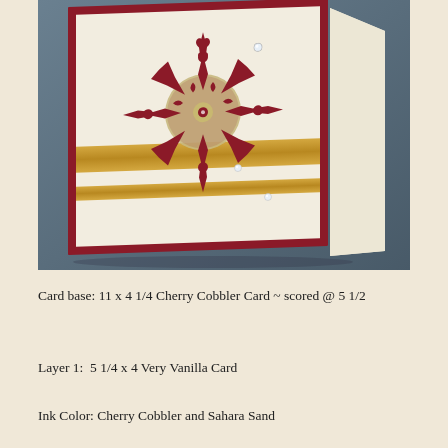[Figure (photo): A handmade Christmas card displayed as a tent card, featuring a dark red (Cherry Cobbler) base with a cream/vanilla inner layer. A large ornate snowflake die-cut in dark red is centered on the card, overlapping two horizontal gold (Sahara Sand) bands. Small rhinestone gems are scattered on the card. The card is propped open on a blue-gray surface.]
Card base: 11 x 4 1/4 Cherry Cobbler Card ~ scored @ 5 1/2
Layer 1:  5 1/4 x 4 Very Vanilla Card
Ink Color: Cherry Cobbler and Sahara Sand